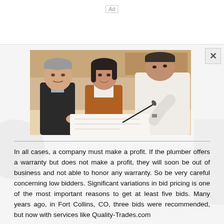Ad
[Figure (photo): Three people around a table: an older man with gray hair on the left, a woman with dark hair in a brown jacket in the middle, and a man in a white shirt on the right leaning over and signing a document. Kitchen or office background.]
In all cases, a company must make a profit. If the plumber offers a warranty but does not make a profit, they will soon be out of business and not able to honor any warranty. So be very careful concerning low bidders. Significant variations in bid pricing is one of the most important reasons to get at least five bids. Many years ago, in Fort Collins, CO, three bids were recommended, but now with services like Quality-Trades.com